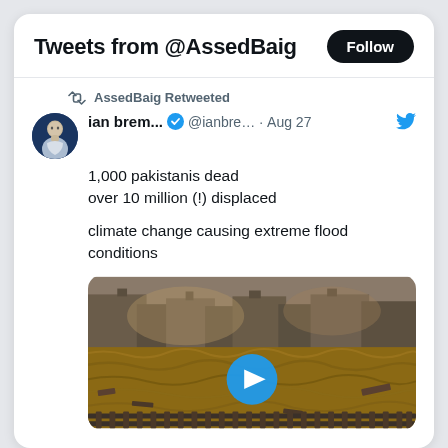Tweets from @AssedBaig
AssedBaig Retweeted
ian brem... ✓ @ianbre… · Aug 27
1,000 pakistanis dead
over 10 million (!) displaced

climate change causing extreme flood conditions
[Figure (photo): Flood video thumbnail showing rushing brown floodwaters with debris, damaged buildings and railway tracks in foreground. Blue play button overlay in center.]